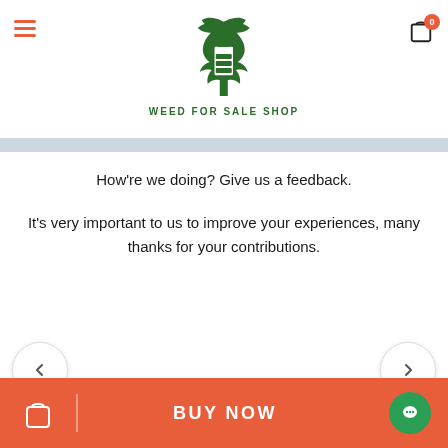WEED FOR SALE SHOP
How're we doing? Give us a feedback.

It's very important to us to improve your experiences, many thanks for your contributions.
BUY NOW